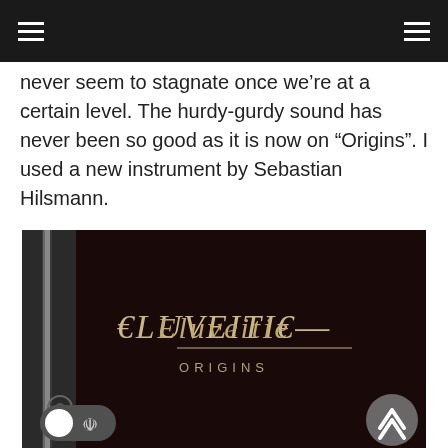never seem to stagnate once we’re at a certain level. The hurdy-gurdy sound has never been so good as it is now on “Origins”. I used a new instrument by Sebastian Hilsmann.
[Figure (photo): Album cover for Eluveitie – Origins. Dark background with decorative metalwork visible on the left side. The band name ‘Eluveitie’ in stylized Celtic lettering and the album title ‘ORIGINS’ in smaller lettering below it. A dark mode toggle button (light/moon icons) is visible in the bottom-left corner and a back-to-top arrow button in the bottom-right corner.]